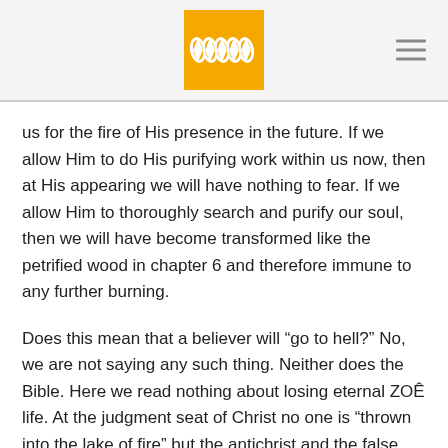[Figure (logo): Golden wheat/leaf logo on yellow square background, centered in header]
us for the fire of His presence in the future. If we allow Him to do His purifying work within us now, then at His appearing we will have nothing to fear. If we allow Him to thoroughly search and purify our soul, then we will have become transformed like the petrified wood in chapter 6 and therefore immune to any further burning.
Does this mean that a believer will “go to hell?” No, we are not saying any such thing. Neither does the Bible. Here we read nothing about losing eternal ZOÊ life. At the judgment seat of Christ no one is “thrown into the lake of fire” but the antichrist and the false prophet. The